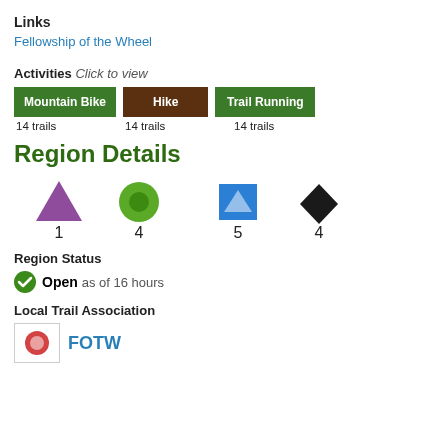Links
Fellowship of the Wheel
Activities Click to view
Mountain Bike 14 trails | Hike 14 trails | Trail Running 14 trails
Region Details
1  4  5  4
Region Status
Open as of 16 hours
Local Trail Association
FOTW